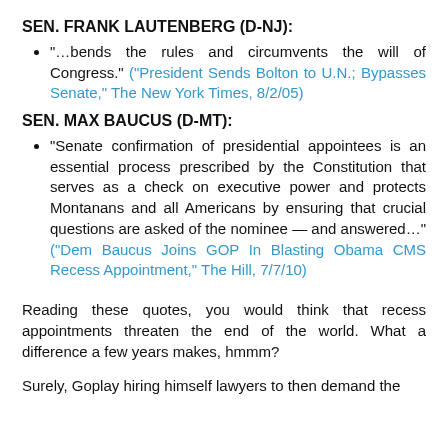SEN. FRANK LAUTENBERG (D-NJ):
"…bends the rules and circumvents the will of Congress." ("President Sends Bolton to U.N.; Bypasses Senate," The New York Times, 8/2/05)
SEN. MAX BAUCUS (D-MT):
"Senate confirmation of presidential appointees is an essential process prescribed by the Constitution that serves as a check on executive power and protects Montanans and all Americans by ensuring that crucial questions are asked of the nominee — and answered…" ("Dem Baucus Joins GOP In Blasting Obama CMS Recess Appointment," The Hill, 7/7/10)
Reading these quotes, you would think that recess appointments threaten the end of the world. What a difference a few years makes, hmmm?
Surely, Oopla hiring himself lawyers to then demand...